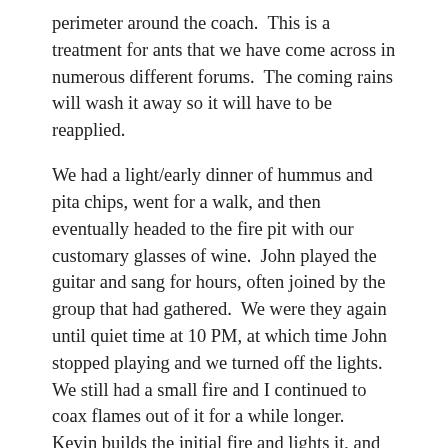perimeter around the coach.  This is a treatment for ants that we have come across in numerous different forums.  The coming rains will wash it away so it will have to be reapplied.
We had a light/early dinner of hummus and pita chips, went for a walk, and then eventually headed to the fire pit with our customary glasses of wine.  John played the guitar and sang for hours, often joined by the group that had gathered.  We were they again until quiet time at 10 PM, at which time John stopped playing and we turned off the lights.  We still had a small fire and I continued to coax flames out of it for a while longer.  Kevin builds the initial fire and lights it, and John was the backup fire tender, but since he is usually playing his guitar I have assumed responsibility for tending the fire.
This entry was posted in Bus Projects, Family-Friends-Home, RVillage, WC-RV-Resort, WFPB and tagged ants, Borax, class 2